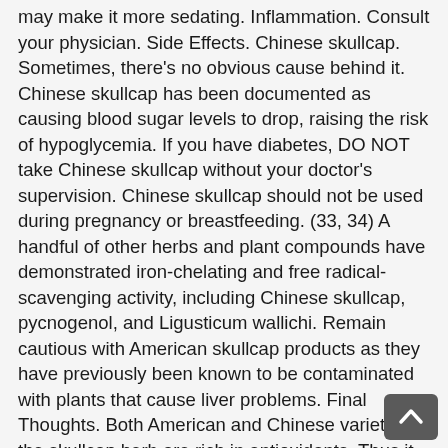may make it more sedating. Inflammation. Consult your physician. Side Effects. Chinese skullcap. Sometimes, there's no obvious cause behind it. Chinese skullcap has been documented as causing blood sugar levels to drop, raising the risk of hypoglycemia. If you have diabetes, DO NOT take Chinese skullcap without your doctor's supervision. Chinese skullcap should not be used during pregnancy or breastfeeding. (33, 34) A handful of other herbs and plant compounds have demonstrated iron-chelating and free radical-scavenging activity, including Chinese skullcap, pycnogenol, and Ligusticum wallichi. Remain cautious with American skullcap products as they have previously been known to be contaminated with plants that cause liver problems. Final Thoughts. Both American and Chinese varieties of the skullcap herb are rich in antioxidants. Thus it might be a soothing drink for those with conditions such as arthritis and bowel diseases which cause uncomfortable inflammation. Stop using Baikal skullcap at least 2 weeks before a scheduled surgery. On the other hand, the Chinese skullcap, which is also called Baikal skullcap, ...